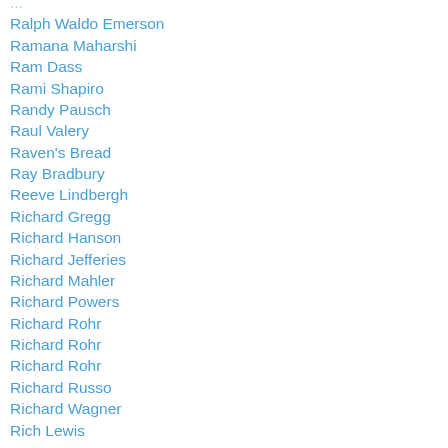Ralph Waldo Emerson
Ramana Maharshi
Ram Dass
Rami Shapiro
Randy Pausch
Raul Valery
Raven's Bread
Ray Bradbury
Reeve Lindbergh
Richard Gregg
Richard Hanson
Richard Jefferies
Richard Mahler
Richard Powers
Richard Rohr
Richard Rohr
Richard Rohr
Richard Russo
Richard Wagner
Rich Lewis